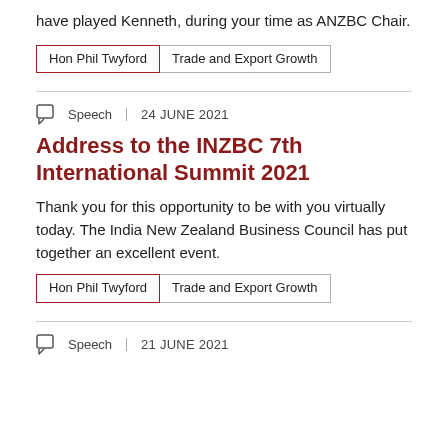have played Kenneth, during your time as ANZBC Chair.
Hon Phil Twyford | Trade and Export Growth
Speech | 24 JUNE 2021
Address to the INZBC 7th International Summit 2021
Thank you for this opportunity to be with you virtually today. The India New Zealand Business Council has put together an excellent event.
Hon Phil Twyford | Trade and Export Growth
Speech | 21 JUNE 2021